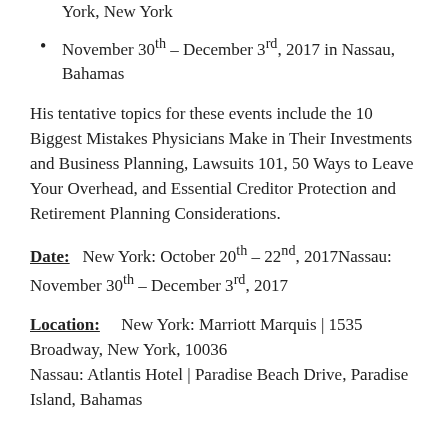York, New York
November 30th – December 3rd, 2017 in Nassau, Bahamas
His tentative topics for these events include the 10 Biggest Mistakes Physicians Make in Their Investments and Business Planning, Lawsuits 101, 50 Ways to Leave Your Overhead, and Essential Creditor Protection and Retirement Planning Considerations.
Date:  New York: October 20th – 22nd, 2017Nassau: November 30th – December 3rd, 2017
Location:    New York: Marriott Marquis | 1535 Broadway, New York, 10036 Nassau: Atlantis Hotel | Paradise Beach Drive, Paradise Island, Bahamas